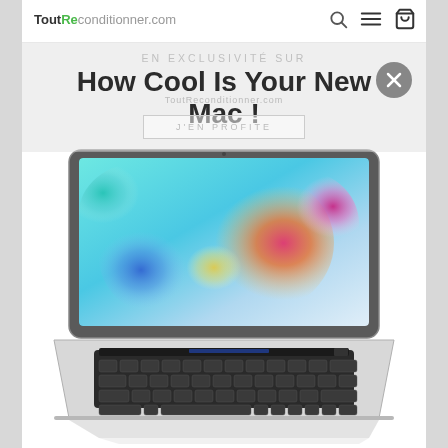ToutReconditionner.com
EN EXCLUSIVITÉ SUR
How Cool Is Your New Mac !
ToutReconditionner.com
J'EN PROFITE
[Figure (photo): MacBook Pro with Touch Bar laptop, silver, displayed at an angle showing colorful ink-in-water wallpaper on screen, keyboard visible below the screen]